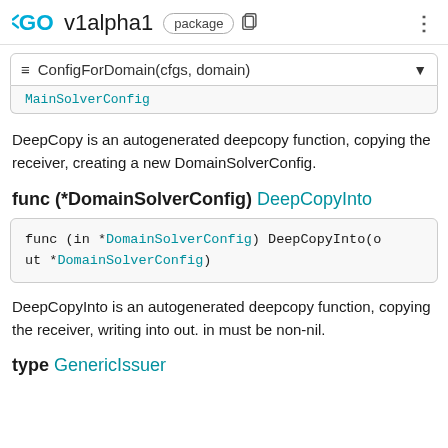GO v1alpha1 package
≡ ConfigForDomain(cfgs, domain)
MainSolverConfig
DeepCopy is an autogenerated deepcopy function, copying the receiver, creating a new DomainSolverConfig.
func (*DomainSolverConfig) DeepCopyInto
func (in *DomainSolverConfig) DeepCopyInto(out *DomainSolverConfig)
DeepCopyInto is an autogenerated deepcopy function, copying the receiver, writing into out. in must be non-nil.
type GenericIssuer